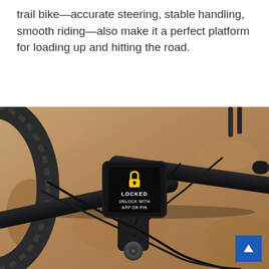trail bike—accurate steering, stable handling, smooth riding—also make it a perfect platform for loading up and hitting the road.
[Figure (photo): Close-up photo of an e-bike handlebar with a black digital display unit showing a lock icon and the text 'LOCKED / UNLOCK WITH APP OR PIN' on a dark screen. The handlebar is mounted against a sandy/dirt background with a tire visible on the left.]